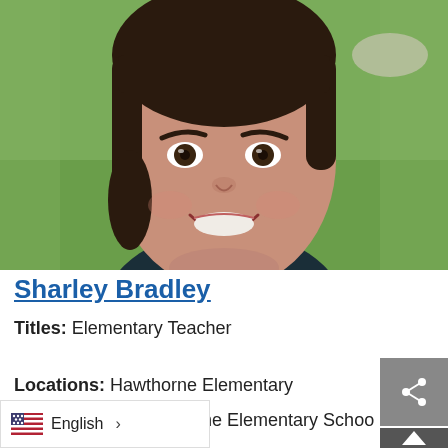[Figure (photo): Headshot photo of Sharley Bradley, a woman with short dark bob haircut, smiling broadly outdoors with green grass background]
Sharley Bradley
Titles: Elementary Teacher
Locations: Hawthorne Elementary
Departments: Hawthorne Elementary School